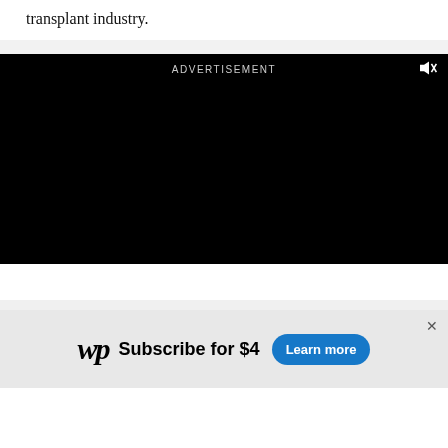transplant industry.
[Figure (other): Black video advertisement player with 'ADVERTISEMENT' label at top center and a mute/unmute icon at top right]
[Figure (other): Washington Post subscribe banner with WP gothic logo, 'Subscribe for $4' text and a blue 'Learn more' button, with a close X button at top right]